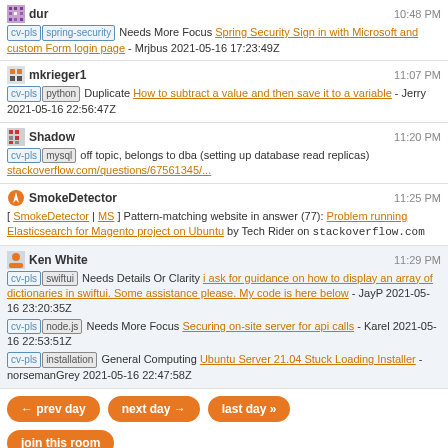dur 10:48 PM cv-pls spring-security Needs More Focus Spring Security Sign in with Microsoft and custom Form login page - Mrjbus 2021-05-16 17:23:49Z
mkrieger1 11:07 PM cv-pls python Duplicate How to subtract a value and then save it to a variable - Jerry 2021-05-16 22:56:47Z
Shadow 11:20 PM cv-pls mysql off topic, belongs to dba (setting up database read replicas) stackoverflow.com/questions/67561345/...
SmokeDetector 11:25 PM [ SmokeDetector | MS ] Pattern-matching website in answer (77): Problem running Elasticsearch for Magento project on Ubuntu by Tech Rider on stackoverflow.com
Ken White 11:29 PM cv-pls swiftui Needs Details Or Clarity i ask for guidance on how to display an array of dictionaries in swiftui. Some assistance please. My code is here below - JayP 2021-05-16 23:20:35Z
cv-pls node.js Needs More Focus Securing on-site server for api calls - Karel 2021-05-16 22:53:51Z
cv-pls installation General Computing Ubuntu Server 21.04 Stuck Loading Installer - norsemanGrey 2021-05-16 22:47:58Z
← prev day
next day →
last day »
join this room